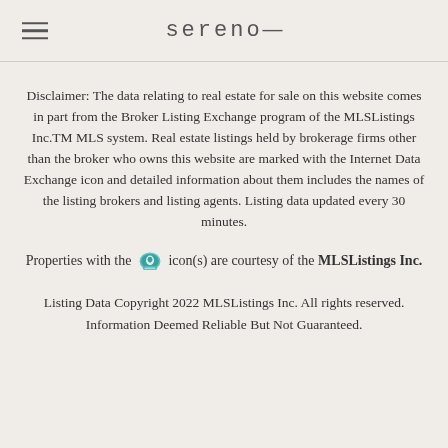sereno—
Disclaimer: The data relating to real estate for sale on this website comes in part from the Broker Listing Exchange program of the MLSListings Inc.TM MLS system. Real estate listings held by brokerage firms other than the broker who owns this website are marked with the Internet Data Exchange icon and detailed information about them includes the names of the listing brokers and listing agents. Listing data updated every 30 minutes.
Properties with the [icon] icon(s) are courtesy of the MLSListings Inc.
Listing Data Copyright 2022 MLSListings Inc. All rights reserved. Information Deemed Reliable But Not Guaranteed.